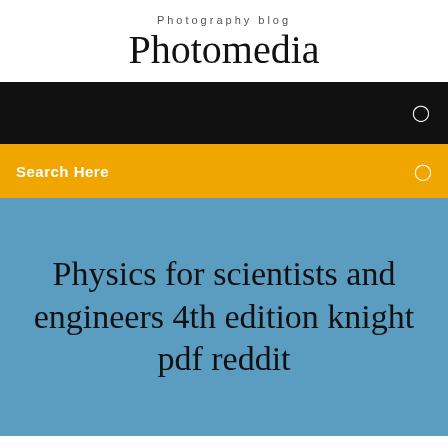Photography blog
Photomedia
☰
Search Here ☰
Physics for scientists and engineers 4th edition knight pdf reddit